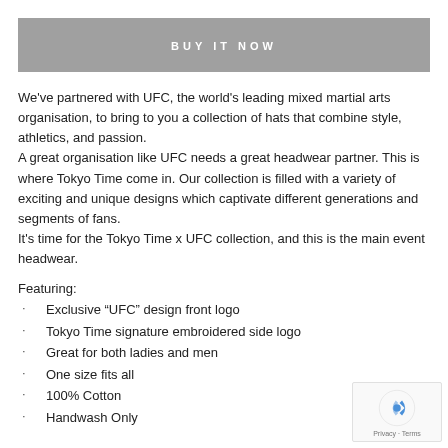[Figure (other): Gray button with 'BUY IT NOW' text in white uppercase spaced letters]
We've partnered with UFC, the world's leading mixed martial arts organisation, to bring to you a collection of hats that combine style, athletics, and passion.
A great organisation like UFC needs a great headwear partner. This is where Tokyo Time come in. Our collection is filled with a variety of exciting and unique designs which captivate different generations and segments of fans.
It's time for the Tokyo Time x UFC collection, and this is the main event headwear.
Featuring:
Exclusive “UFC” design front logo
Tokyo Time signature embroidered side logo
Great for both ladies and men
One size fits all
100% Cotton
Handwash Only